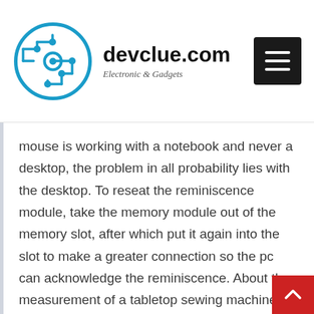devclue.com — Electronic & Gadgets
mouse is working with a notebook and never a desktop, the problem in all probability lies with the desktop. To reseat the reminiscence module, take the memory module out of the memory slot, after which put it again into the slot to make a greater connection so the pc can acknowledge the reminiscence. About the measurement of a tabletop sewing machine, the Osborne didn't have any battery power, running solely on electricity as a substitute, however it allowed laptop customers to work with a computer while on